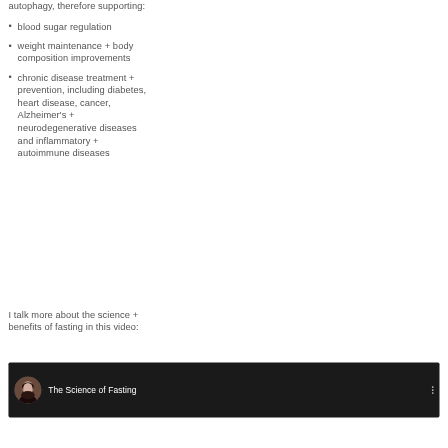autophagy, therefore supporting:
blood sugar regulation
weight maintenance + body composition improvements
chronic disease treatment + prevention, including diabetes, heart disease, cancer, Alzheimer's + neurodegenerative diseases and inflammatory + autoimmune diseases
I talk more about the science + benefits of fasting in this video:
[Figure (screenshot): YouTube video thumbnail showing a woman with dark hair, titled 'The Science of Fasting' with a three-dot menu icon, on a dark background.]